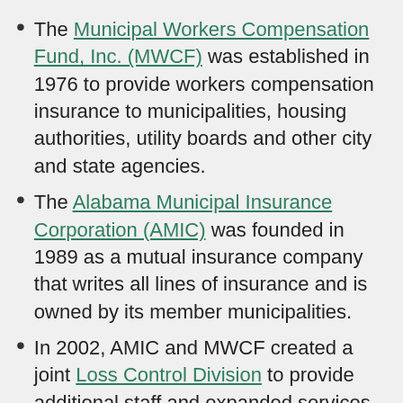The Municipal Workers Compensation Fund, Inc. (MWCF) was established in 1976 to provide workers compensation insurance to municipalities, housing authorities, utility boards and other city and state agencies.
The Alabama Municipal Insurance Corporation (AMIC) was founded in 1989 as a mutual insurance company that writes all lines of insurance and is owned by its member municipalities.
In 2002, AMIC and MWCF created a joint Loss Control Division to provide additional staff and expanded services at a much reduced cost to their members. The Loss Control Division has a